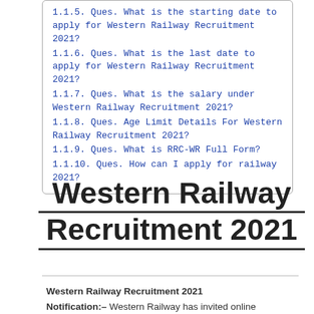1.1.5. Ques. What is the starting date to apply for Western Railway Recruitment 2021?
1.1.6. Ques. What is the last date to apply for Western Railway Recruitment 2021?
1.1.7. Ques. What is the salary under Western Railway Recruitment 2021?
1.1.8. Ques. Age Limit Details For Western Railway Recruitment 2021?
1.1.9. Ques. What is RRC-WR Full Form?
1.1.10. Ques. How can I apply for railway 2021?
Western Railway Recruitment 2021
Western Railway Recruitment 2021
Notification:– Western Railway has invited online applications to fill 3591 Apprentice posts in the